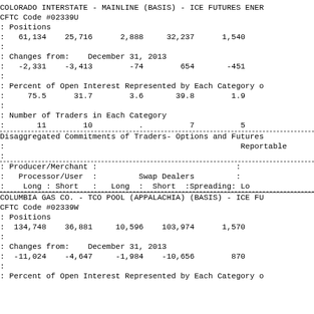COLORADO INTERSTATE - MAINLINE (BASIS) - ICE FUTURES ENERGY
CFTC Code #02339U
: Positions
:   61,134    25,716      2,888     32,237      1,540
:
: Changes from:    December 31, 2013
:   -2,331    -3,413        -74        654       -451
:
: Percent of Open Interest Represented by Each Category o
:     75.5      31.7        3.6       39.8        1.9
:
: Number of Traders in Each Category
:       11        10          .          7          5
Disaggregated Commitments of Traders- Options and Futures
:                                                    Reportable
:
: Producer/Merchant :                              :
:   Processor/User :         Swap Dealers         :
:    Long : Short  :   Long  :  Short  :Spreading:  Lo
COLUMBIA GAS CO. - TCO POOL (APPALACHIA) (BASIS) - ICE FU
CFTC Code #02339W
: Positions
:  134,748    36,881     10,596    103,974      1,570
:
: Changes from:    December 31, 2013
:  -11,024    -4,647     -1,984    -10,656        870
:
: Percent of Open Interest Represented by Each Category o